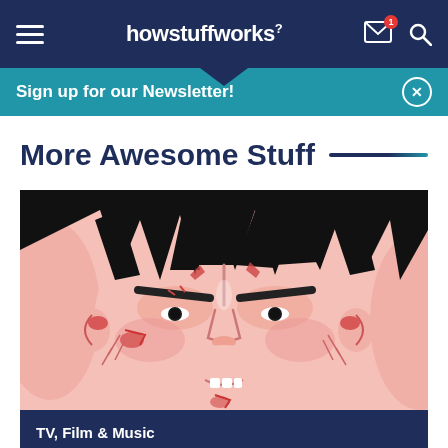howstuffworks
Sign up for our Newsletter!
More Awesome Stuff
[Figure (illustration): Close-up anime face of a Dragon Ball Z character (Goku) with black spiky hair, angry expression, visible wounds/bruises, dramatic shading in pink and red tones, black outlines]
TV, Film & Music